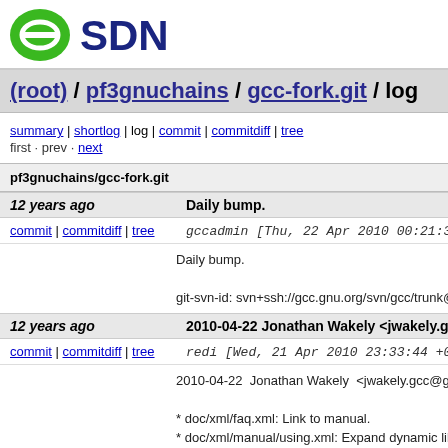[Figure (logo): OSDN logo — green oval with white dash icon on left, dark blue SDN text on right]
(root) / pf3gnuchains / gcc-fork.git / log
summary | shortlog | log | commit | commitdiff | tree
first · prev · next
pf3gnuchains/gcc-fork.git
12 years ago	Daily bump.
commit | commitdiff | tree	gccadmin [Thu, 22 Apr 2010 00:21:31 +0000
Daily bump.

git-svn-id: svn+ssh://gcc.gnu.org/svn/gcc/trunk@1
12 years ago	2010-04-22 Jonathan Wakely <jwakely.gcc@gm
commit | commitdiff | tree	redi [Wed, 21 Apr 2010 23:33:44 +0000 (2
2010-04-22  Jonathan Wakely  <jwakely.gcc@gma

* doc/xml/faq.xml: Link to manual.
* doc/xml/manual/using.xml: Expand dynamic libra
* doc/xml/manual/strings.xml: Mention shrink_to_fi
* doc/xml/manual/prerequisites.xml: Link to doxygel
* doc/xml/manual/appendix_contributing.xml: Upda